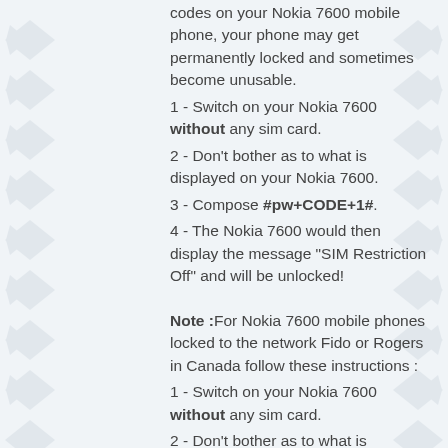codes on your Nokia 7600 mobile phone, your phone may get permanently locked and sometimes become unusable.
1 - Switch on your Nokia 7600 without any sim card.
2 - Don't bother as to what is displayed on your Nokia 7600.
3 - Compose #pw+CODE+1#.
4 - The Nokia 7600 would then display the message "SIM Restriction Off" and will be unlocked!
Note :For Nokia 7600 mobile phones locked to the network Fido or Rogers in Canada follow these instructions :
1 - Switch on your Nokia 7600 without any sim card.
2 - Don't bother as to what is displayed on your Nokia 7600.
3 - Compose #pw+CODE+7#.
4 - The Nokia 7600 would then display the message "SIM Restriction Off" and will be unlocked!